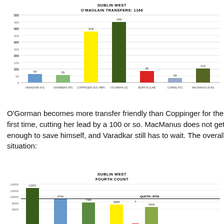[Figure (bar-chart): DUBLIN WEST
O'MAOLAIN TRANSFERS: 1166]
O'Gorman becomes more transfer friendly than Coppinger for the first time, cutting her lead by a 100 or so. MacManus does not get enough to save himself, and Varadkar still has to wait. The overall situation:
[Figure (bar-chart): DUBLIN WEST
FOURTH COUNT]